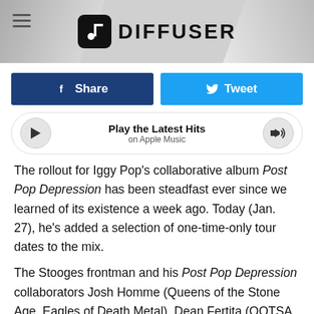[Figure (screenshot): Diffuser website header banner with logo — black music note icon in rounded square, DIFFUSER wordmark in bold black, decorative grey background panels on left and right, hamburger menu icon top left]
[Figure (screenshot): Facebook Share button (dark blue) and Twitter Tweet button (sky blue) side by side]
[Figure (screenshot): Apple Music player widget with play button on left, 'Play the Latest Hits / on Apple Music' text center, volume icon on right]
The rollout for Iggy Pop's collaborative album Post Pop Depression has been steadfast ever since we learned of its existence a week ago. Today (Jan. 27), he's added a selection of one-time-only tour dates to the mix.
The Stooges frontman and his Post Pop Depression collaborators Josh Homme (Queens of the Stone Age, Eagles of Death Metal), Dean Fertita (QOTSA, the Dead Weather) and Matt Helders (Arctic Monkeys) will hit the road on March 28. They have dates scheduled through May,